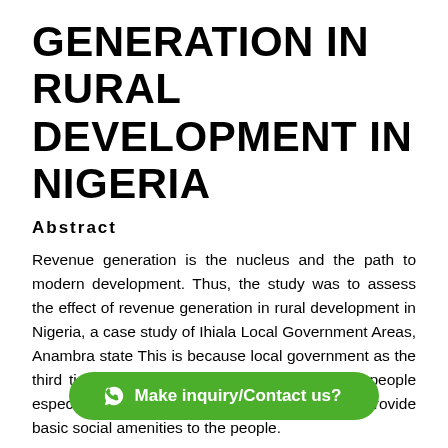GENERATION IN RURAL DEVELOPMENT IN NIGERIA
Abstract
Revenue generation is the nucleus and the path to modern development. Thus, the study was to assess the effect of revenue generation in rural development in Nigeria, a case study of Ihiala Local Government Areas, Anambra state This is because local government as the third tier of government and the closest to the people especially in the rural areas needed revenue to provide basic social amenities to the people.
But it is unfortunate to note that the local government management has not lived up to expectation especially to provide basic social amenities to the rural people. Thus, the objective of the research was to analyze the extent to which poor revenue ge... development of those a... and secondary methods of data collection to generate the